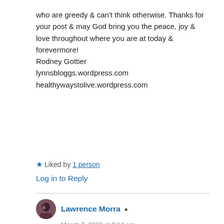who are greedy & can't think otherwise. Thanks for your post & may God bring you the peace, joy & love throughout where you are at today & forevermore!
Rodney Gottier
lynnsbloggs.wordpress.com
healthywaystolive.wordpress.com
★ Liked by 1 person
Log in to Reply
Lawrence Morra
March 7, 2022 at 8:12 pm
Hi Rodney! Well thank you first of all for this